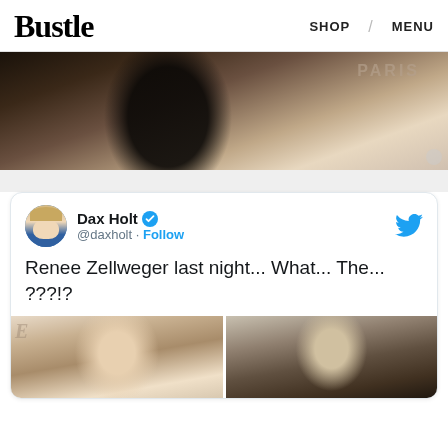Bustle   SHOP   MENU
[Figure (photo): Partial photo of a person in a black patterned outfit, with 'PARIS' text visible in background]
[Figure (screenshot): Tweet from @daxholt (Dax Holt, verified) with text 'Renee Zellweger last night... What... The... ???!?' and two side-by-side photos of blonde women]
Renee Zellweger last night... What... The... ???!?